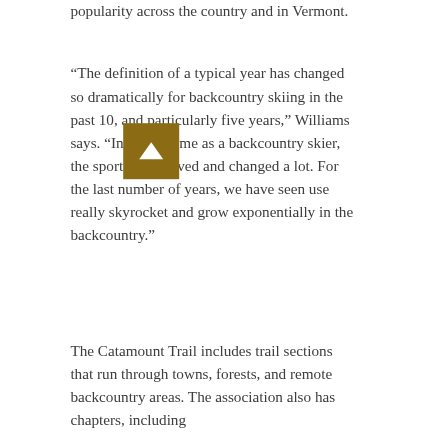popularity across the country and in Vermont.
“The definition of a typical year has changed so dramatically for backcountry skiing in the past 10, and particularly five years,” Williams says. “In my lifetime as a backcountry skier, the sport has evolved and changed a lot. For the last number of years, we have seen use really skyrocket and grow exponentially in the backcountry.”
The Catamount Trail includes trail sections that run through towns, forests, and remote backcountry areas. The association also has chapters, including